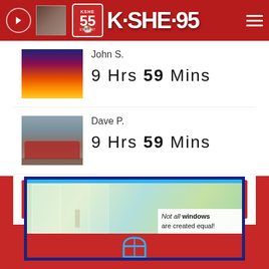KSHE 95 - Real Rock Radio - 55th Anniversary
John S.
9 Hrs 59 Mins
Dave P.
9 Hrs 59 Mins
LISTEN NOW
[Figure (screenshot): Advertisement banner with window blinds/interior photo and text 'Not all windows are created equal!']